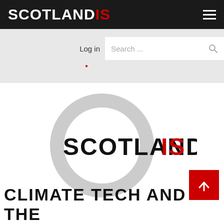SCOTLANDIS
Log in
Search ...
[Figure (logo): ScotlandIS logo: bold text SCOTLAND in black and IS in red, overlaid on a large light gray circle/ring shape]
[Figure (other): Red scroll-to-top button with white upward arrow]
CLIMATE TECH AND THE